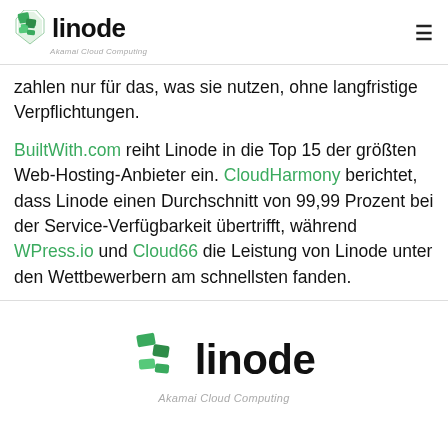linode Akamai Cloud Computing
zahlen nur für das, was sie nutzen, ohne langfristige Verpflichtungen.
BuiltWith.com reiht Linode in die Top 15 der größten Web-Hosting-Anbieter ein. CloudHarmony berichtet, dass Linode einen Durchschnitt von 99,99 Prozent bei der Service-Verfügbarkeit übertrifft, während WPress.io und Cloud66 die Leistung von Linode unter den Wettbewerbern am schnellsten fanden.
[Figure (logo): Linode Akamai Cloud Computing logo at bottom of page]